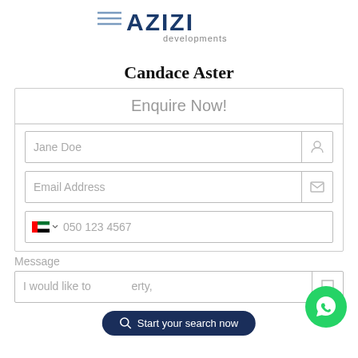[Figure (logo): Azizi Developments logo with horizontal lines and text]
Candace Aster
Enquire Now!
Jane Doe
Email Address
050 123 4567
Message
I would like to ... erty,
Start your search now